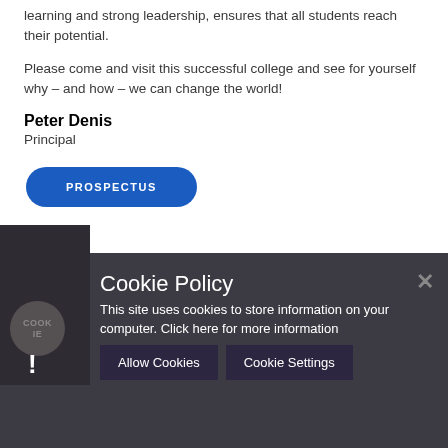learning and strong leadership, ensures that all students reach their potential.
Please come and visit this successful college and see for yourself why – and how – we can change the world!
Peter Denis
Principal
PROSPECTUS
Cookie Policy
This site uses cookies to store information on your computer. Click here for more information
Allow Cookies
Cookie Settings